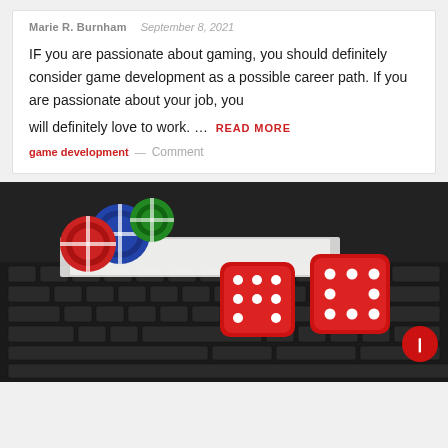Marie R. Burnham   September 8, 2021
IF you are passionate about gaming, you should definitely consider game development as a possible career path. If you are passionate about your job, you will definitely love to work. …
READ MORE
game development — Comment
[Figure (photo): Casino chips (red, blue, green) and two red dice with white dots on a laptop keyboard with playing cards and money visible underneath.]